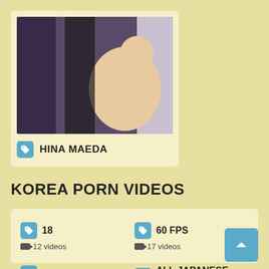[Figure (photo): Thumbnail image for Hina Maeda]
HINA MAEDA
KOREA PORN VIDEOS
18
12 videos
60 FPS
17 videos
69
14 videos
ALL JAPANESE PASS
17 videos